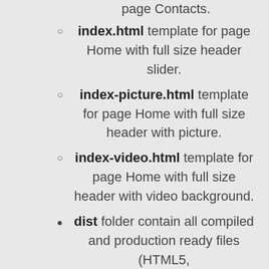page Contacts.
index.html template for page Home with full size header slider.
index-picture.html template for page Home with full size header with picture.
index-video.html template for page Home with full size header with video background.
dist folder contain all compiled and production ready files (HTML5,